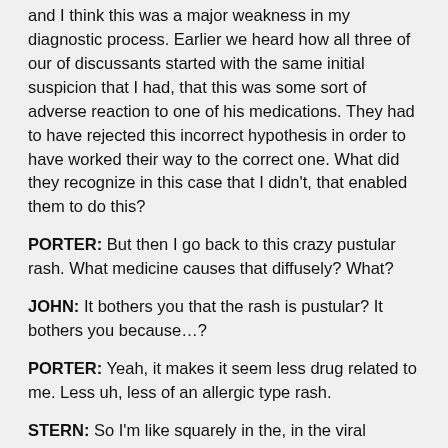and I think this was a major weakness in my diagnostic process. Earlier we heard how all three of our of discussants started with the same initial suspicion that I had, that this was some sort of adverse reaction to one of his medications. They had to have rejected this incorrect hypothesis in order to have worked their way to the correct one. What did they recognize in this case that I didn't, that enabled them to do this?
PORTER: But then I go back to this crazy pustular rash. What medicine causes that diffusely? What?
JOHN: It bothers you that the rash is pustular? It bothers you because...?
PORTER: Yeah, it makes it seem less drug related to me. Less uh, less of an allergic type rash.
STERN: So I'm like squarely in the, in the viral rickettsial mode. That's the only place that I am right now. It's not those meds, it's not a bacterial infection. I don't know where you are.